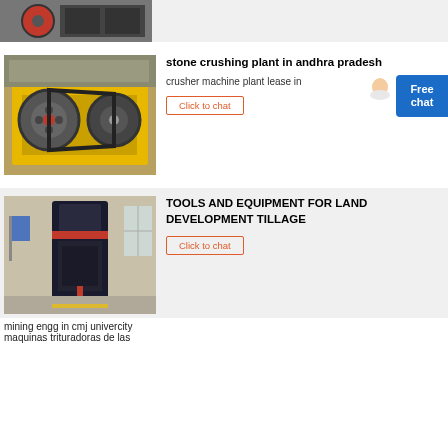[Figure (photo): Top partial card showing industrial machinery with red wheel, gray background strip]
[Figure (photo): Stone crushing plant machinery with yellow frame and belt drive pulleys]
stone crushing plant in andhra pradesh
crusher machine plant lease in
Click to chat
[Figure (photo): Large vertical industrial milling/grinding machine in factory hall]
TOOLS AND EQUIPMENT FOR LAND DEVELOPMENT TILLAGE
Click to chat
mining engg in cmj univercity
maquinas trituradoras de las